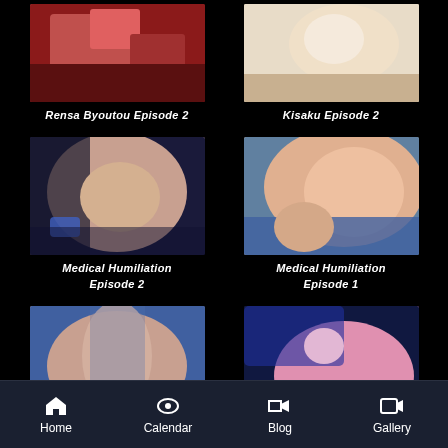[Figure (screenshot): Anime thumbnail - Rensa Byoutou Episode 2]
Rensa Byoutou Episode 2
[Figure (screenshot): Anime thumbnail - Kisaku Episode 2]
Kisaku Episode 2
[Figure (screenshot): Anime thumbnail - Medical Humiliation Episode 2]
Medical Humiliation Episode 2
[Figure (screenshot): Anime thumbnail - Medical Humiliation Episode 1]
Medical Humiliation Episode 1
[Figure (screenshot): Anime thumbnail bottom left]
[Figure (screenshot): Anime thumbnail bottom right]
Home  Calendar  Blog  Gallery